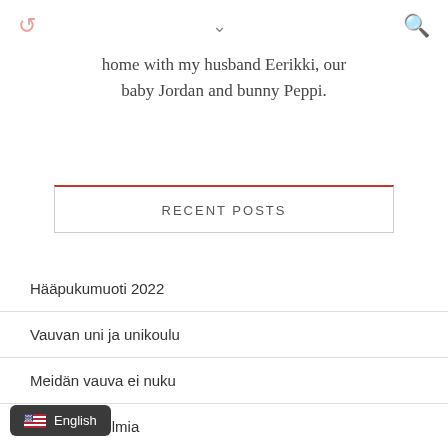↺ ∨ 🔍
home with my husband Eerikki, our baby Jordan and bunny Peppi.
RECENT POSTS
Hääpukumuoti 2022
Vauvan uni ja unikoulu
Meidän vauva ei nuku
Sisustusunelmia
uun kuulumiset
English